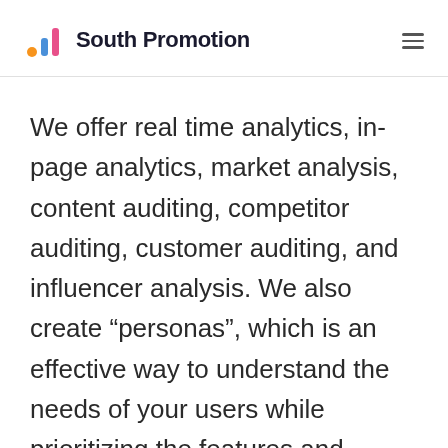South Promotion
We offer real time analytics, in-page analytics, market analysis, content auditing, competitor auditing, customer auditing, and influencer analysis. We also create “personas”, which is an effective way to understand the needs of your users while prioritizing the features and functionality of your